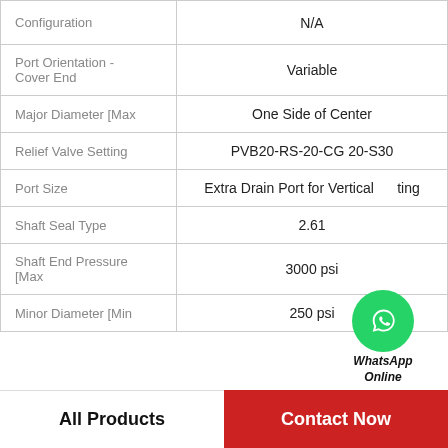| Property | Value |
| --- | --- |
| Configuration | N/A |
| Port Orientation - Cover End | Variable |
| Major Diameter [Max | One Side of Center |
| Relief Valve Setting | PVB20-RS-20-CG 20-S30 |
| Port Size | Extra Drain Port for Vertical Mounting |
| Shaft Seal Type | 2.61 |
| Shaft End Pressure [Max | 3000 psi |
| Minor Diameter [Min | 250 psi |
All Products    Contact Now